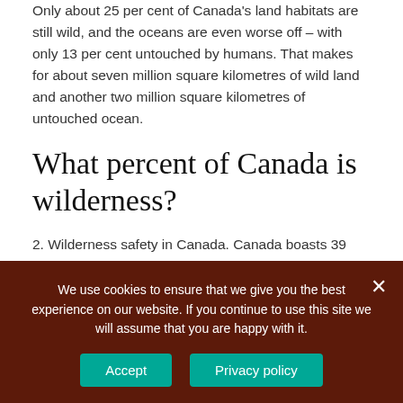Only about 25 per cent of Canada's land habitats are still wild, and the oceans are even worse off – with only 13 per cent untouched by humans. That makes for about seven million square kilometres of wild land and another two million square kilometres of untouched ocean.
What percent of Canada is wilderness?
2. Wilderness safety in Canada. Canada boasts 39 National Parks and eight National Park Reserves,
We use cookies to ensure that we give you the best experience on our website. If you continue to use this site we will assume that you are happy with it.